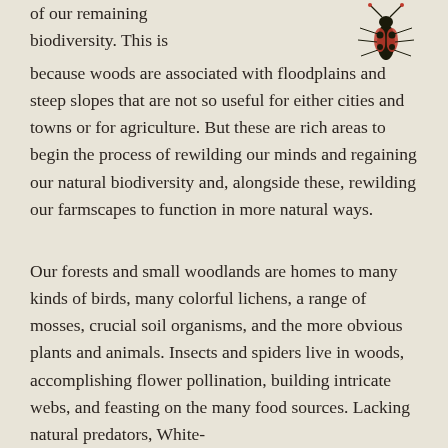of our remaining biodiversity. This is because woods are associated with floodplains and steep slopes that are not so useful for either cities and towns or for agriculture. But these are rich areas to begin the process of rewilding our minds and regaining our natural biodiversity and, alongside these, rewilding our farmscapes to function in more natural ways.
[Figure (illustration): Illustration of a colorful insect, appearing to be a beetle or similar bug with red and black coloring, shown in the upper right corner of the page.]
Our forests and small woodlands are homes to many kinds of birds, many colorful lichens, a range of mosses, crucial soil organisms, and the more obvious plants and animals. Insects and spiders live in woods, accomplishing flower pollination, building intricate webs, and feasting on the many food sources. Lacking natural predators, White-